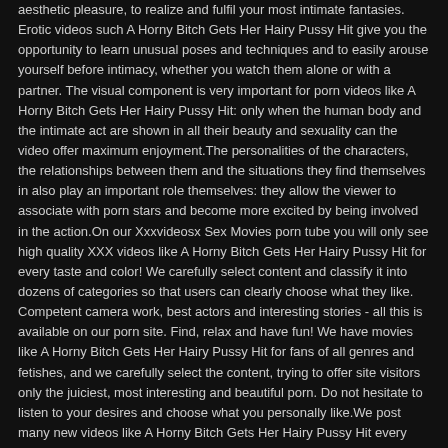aesthetic pleasure, to realize and fulfil your most intimate fantasies. Erotic videos such A Horny Bitch Gets Her Hairy Pussy Hit give you the opportunity to learn unusual poses and techniques and to easily arouse yourself before intimacy, whether you watch them alone or with a partner. The visual component is very important for porn videos like A Horny Bitch Gets Her Hairy Pussy Hit: only when the human body and the intimate act are shown in all their beauty and sexuality can the video offer maximum enjoyment.The personalities of the characters, the relationships between them and the situations they find themselves in also play an important role themselves: they allow the viewer to associate with porn stars and become more excited by being involved in the action.On our Xxxvideosx Sex Movies porn tube you will only see high quality XXX videos like A Horny Bitch Gets Her Hairy Pussy Hit for every taste and color! We carefully select content and classify it into dozens of categories so that users can clearly choose what they like. Competent camera work, best actors and interesting stories - all this is available on our porn site. Find, relax and have fun! We have movies like A Horny Bitch Gets Her Hairy Pussy Hit for fans of all genres and fetishes, and we carefully select the content, trying to offer site visitors only the juiciest, most interesting and beautiful porn. Do not hesitate to listen to your desires and choose what you personally like.We post many new videos like A Horny Bitch Gets Her Hairy Pussy Hit every day.
© 2022 Xxxvideosx Sex Movies
DMCA  Privacy  Community Guidelines  Terms of Service
All models were over the age of 18 at time of photography.
18 U.S.C. 2257 Record-Keeping Requirements Compliance Statement